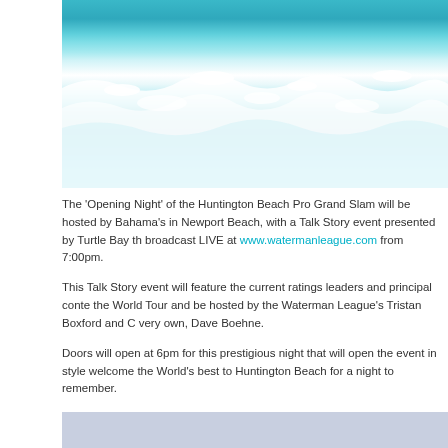[Figure (photo): Ocean waves with white foam crashing, teal and turquoise water, aerial or close-up view of surf]
The 'Opening Night' of the Huntington Beach Pro Grand Slam will be hosted by Bahama's in Newport Beach, with a Talk Story event presented by Turtle Bay th broadcast LIVE at www.watermanleague.com from 7:00pm.
This Talk Story event will feature the current ratings leaders and principal conte the World Tour and be hosted by the Waterman League's Tristan Boxford and C very own, Dave Boehne.
Doors will open at 6pm for this prestigious night that will open the event in style welcome the World's best to Huntington Beach for a night to remember.
Make sure to watch it LIVE at www.watermanleague.com
The $45,000 Huntington Beach Pro Grand Slam to history this year